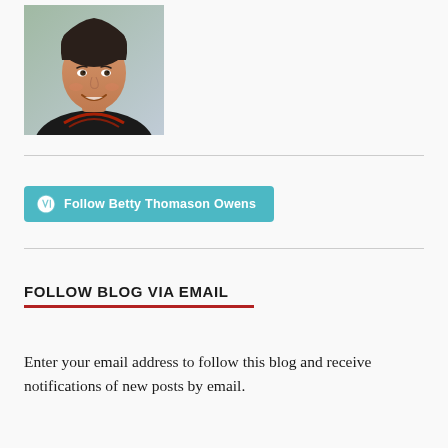[Figure (photo): Portrait photo of a smiling woman with short dark hair, wearing a black top with red embroidery, against a blurred outdoor background.]
[Figure (other): WordPress Follow button: 'Follow Betty Thomason Owens' in teal/cyan color with WordPress logo icon on left.]
FOLLOW BLOG VIA EMAIL
Enter your email address to follow this blog and receive notifications of new posts by email.